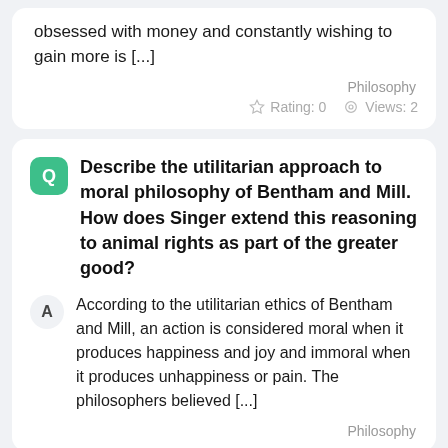obsessed with money and constantly wishing to gain more is [...]
Philosophy
Rating: 0   Views: 2
Describe the utilitarian approach to moral philosophy of Bentham and Mill. How does Singer extend this reasoning to animal rights as part of the greater good?
According to the utilitarian ethics of Bentham and Mill, an action is considered moral when it produces happiness and joy and immoral when it produces unhappiness or pain. The philosophers believed [...]
Philosophy